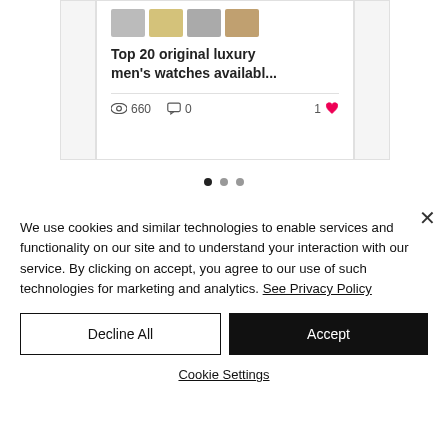[Figure (screenshot): Partial view of a blog/article card showing watch thumbnail images and a card with title 'Top 20 original luxury men's watches availabl...' with 660 views, 0 comments, and 1 like. Carousel dots navigation below.]
We use cookies and similar technologies to enable services and functionality on our site and to understand your interaction with our service. By clicking on accept, you agree to our use of such technologies for marketing and analytics. See Privacy Policy
Decline All
Accept
Cookie Settings